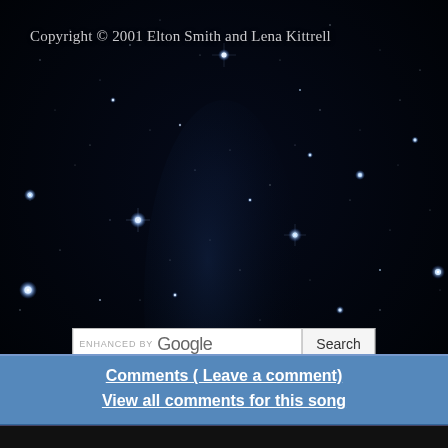[Figure (photo): Night sky / starfield background image showing numerous stars of varying brightness against a deep dark blue-black background, with several bright blue-white stars and many smaller dim stars scattered throughout.]
Copyright © 2001 Elton Smith and Lena Kittrell
[Figure (screenshot): ENHANCED BY Google search bar with a Search button]
Comments  ( Leave a comment)
View all comments for this song